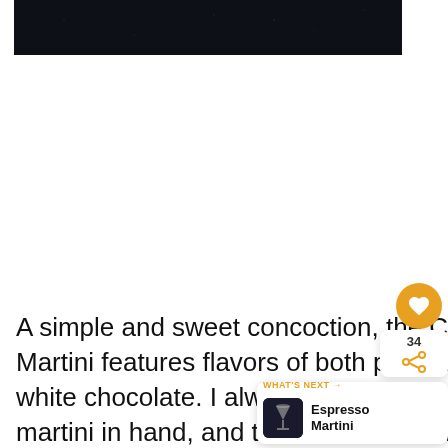[Figure (photo): Dark/black textured background image at the top of the page, cropped partial view]
A simple and sweet concoction, the Candy Cane Martini features flavors of both peppermint and white chocolate. I always feel festive with a martini in hand, and the crushed candy on the rim add some eye appeal!
[Figure (other): Orange circular heart/save button with white heart icon, showing count 34 and share icon below]
[Figure (other): What's Next panel showing Espresso Martini thumbnail with orange label arrow]